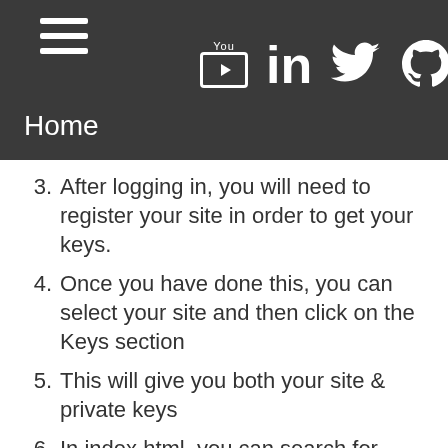Home
3. After logging in, you will need to register your site in order to get your keys.
4. Once you have done this, you can select your site and then click on the Keys section
5. This will give you both your site & private keys
6. In index.html, you can search for SITE_KEY and replace it with your key
7. In submit.php, you can search for PRIVATE_KEY and replace it with your key
8. Next you need to log into